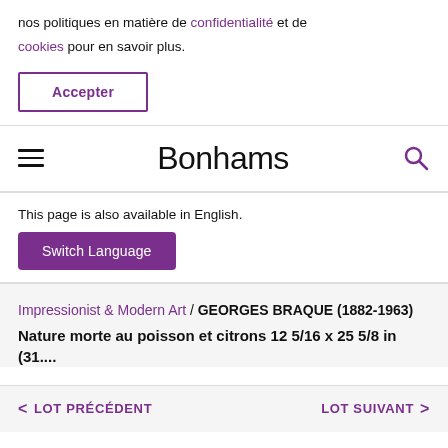nos politiques en matière de confidentialité et de cookies pour en savoir plus.
Accepter
[Figure (logo): Bonhams logo with hamburger menu icon on left and search icon on right]
This page is also available in English.
Switch Language
Impressionist & Modern Art / GEORGES BRAQUE (1882-1963)
Nature morte au poisson et citrons 12 5/16 x 25 5/8 in (31....
< LOT PRÉCÉDENT
LOT SUIVANT >